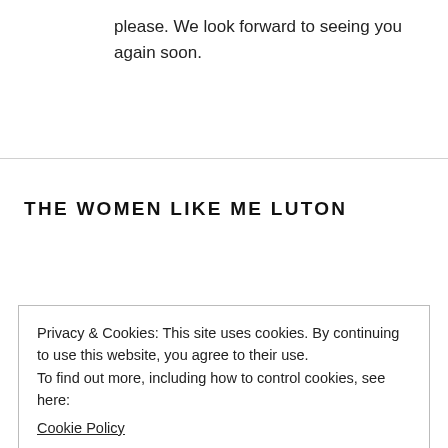please. We look forward to seeing you again soon.
THE WOMEN LIKE ME LUTON
Privacy & Cookies: This site uses cookies. By continuing to use this website, you agree to their use.
To find out more, including how to control cookies, see here: Cookie Policy
Close and accept